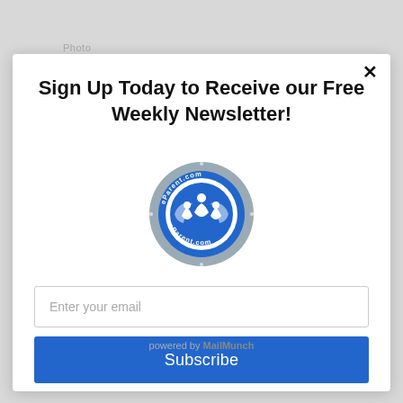Photo
✕
Sign Up Today to Receive our Free Weekly Newsletter!
[Figure (logo): eParent.com circular logo with blue and grey colors, showing stylized family figures]
Enter your email
Subscribe
powered by MailMunch